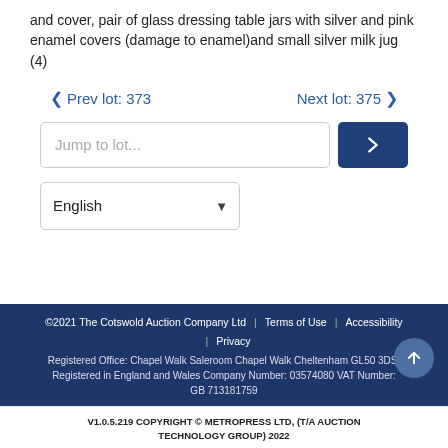and cover, pair of glass dressing table jars with silver and pink enamel covers (damage to enamel)and small silver milk jug (4)
< Prev lot: 373    Next lot: 375 >
Jump to lot...
English
©2021 The Cotswold Auction Company Ltd | Terms of Use | Accessibility | Privacy
Registered Office: Chapel Walk Saleroom Chapel Walk Cheltenham GL50 3DS. Registered in England and Wales Company Number: 03574080 VAT Number: GB 713181759
V1.0.5.219 COPYRIGHT © METROPRESS LTD, (T/A AUCTION TECHNOLOGY GROUP) 2022